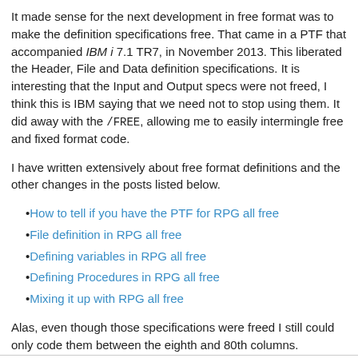It made sense for the next development in free format was to make the definition specifications free. That came in a PTF that accompanied IBM i 7.1 TR7, in November 2013. This liberated the Header, File and Data definition specifications. It is interesting that the Input and Output specs were not freed, I think this is IBM saying that we need not to stop using them. It did away with the /FREE, allowing me to easily intermingle free and fixed format code.
I have written extensively about free format definitions and the other changes in the posts listed below.
How to tell if you have the PTF for RPG all free
File definition in RPG all free
Defining variables in RPG all free
Defining Procedures in RPG all free
Mixing it up with RPG all free
Alas, even though those specifications were freed I still could only code them between the eighth and 80th columns.